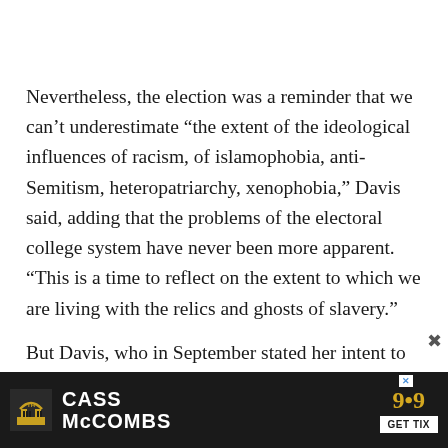Nevertheless, the election was a reminder that we can't underestimate “the extent of the ideological influences of racism, of islamophobia, anti-Semitism, heteropatriarchy, xenophobia,” Davis said, adding that the problems of the electoral college system have never been more apparent. “This is a time to reflect on the extent to which we are living with the relics and ghosts of slavery.”
But Davis, who in September stated her intent to vote for Hillary Clinton, also took time to examine the deep
[Figure (other): Advertisement banner for Cass McCombs with GET TIX button and close icon]